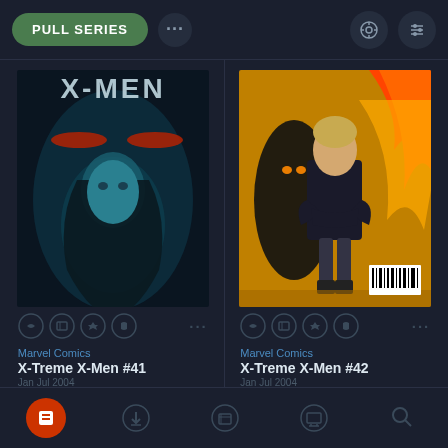[Figure (screenshot): Mobile app interface showing comic book browser with PULL SERIES button, settings icons, two comic book covers (X-Treme X-Men #41 and #42, both Prisoner of Fire), action icons, publisher info, and bottom navigation bar.]
PULL SERIES
Marvel Comics
X-Treme X-Men #41
Marvel Comics
X-Treme X-Men #42